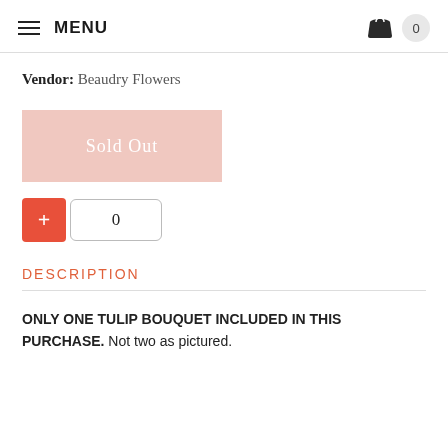MENU  0
Vendor: Beaudry Flowers
Sold Out
+ 0
DESCRIPTION
ONLY ONE TULIP BOUQUET INCLUDED IN THIS PURCHASE. Not two as pictured.